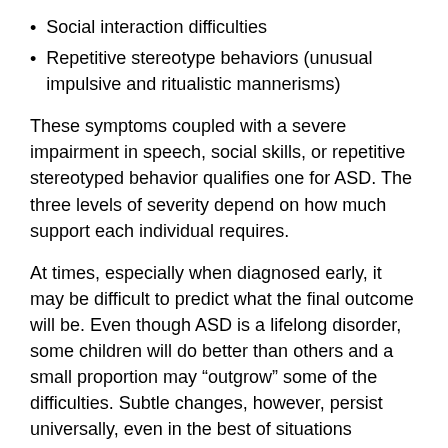Social interaction difficulties
Repetitive stereotype behaviors (unusual impulsive and ritualistic mannerisms)
These symptoms coupled with a severe impairment in speech, social skills, or repetitive stereotyped behavior qualifies one for ASD. The three levels of severity depend on how much support each individual requires.
At times, especially when diagnosed early, it may be difficult to predict what the final outcome will be. Even though ASD is a lifelong disorder, some children will do better than others and a small proportion may “outgrow” some of the difficulties. Subtle changes, however, persist universally, even in the best of situations throughout life, and involve mostly social interaction skills and some obsessive-compulsive behaviors.
A simplified way of understanding the diagnosis of ASD is looking at the ASD assessment scale questionnaire. In